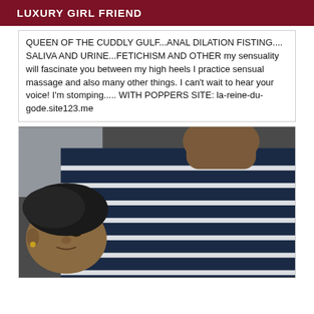LUXURY GIRL FRIEND
QUEEN OF THE CUDDLY GULF...ANAL DILATION FISTING.... SALIVA AND URINE...FETICHISM AND OTHER my sensuality will fascinate you between my high heels I practice sensual massage and also many other things. I can't wait to hear your voice! I'm stomping..... WITH POPPERS SITE: la-reine-du-gode.site123.me
[Figure (photo): Person wearing a dark navy blue and white striped shirt, lying sideways, face visible in lower left, arm raised upward.]